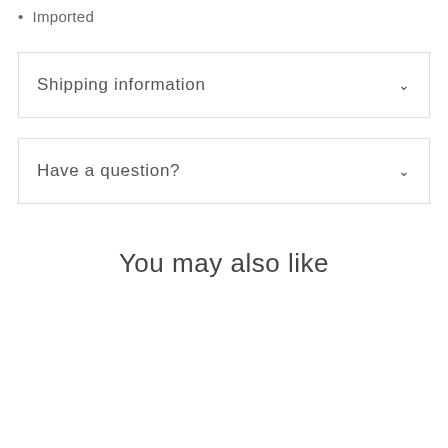Imported
Shipping information
Have a question?
You may also like
[Figure (infographic): Two tan/brown circular Sale badge buttons and a back-to-top arrow circle button]
Sale
Sale